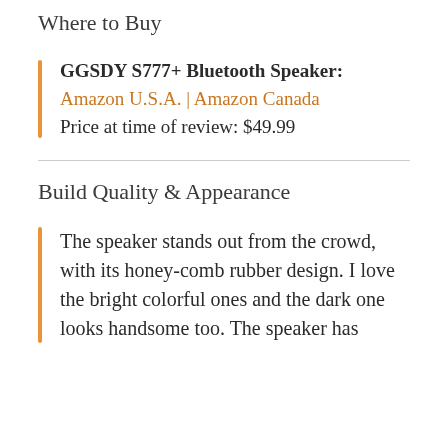Where to Buy
GGSDY S777+ Bluetooth Speaker:
Amazon U.S.A. | Amazon Canada
Price at time of review: $49.99
Build Quality & Appearance
The speaker stands out from the crowd, with its honey-comb rubber design. I love the bright colorful ones and the dark one looks handsome too. The speaker has